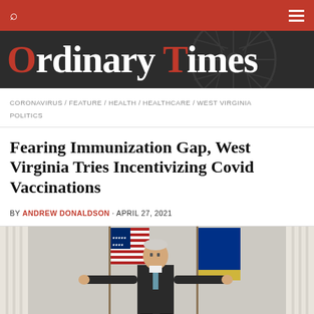Ordinary Times
CORONAVIRUS / FEATURE / HEALTH / HEALTHCARE / WEST VIRGINIA POLITICS
Fearing Immunization Gap, West Virginia Tries Incentivizing Covid Vaccinations
BY ANDREW DONALDSON · APRIL 27, 2021
[Figure (photo): A man in a dark suit and tie stands with arms spread wide in front of an American flag and a West Virginia state flag, flanked by white curtains.]